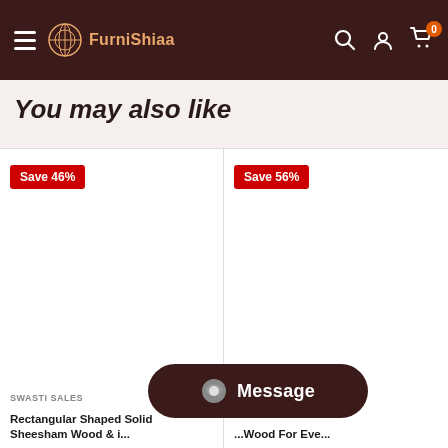FurniShiaa - Navigation header with logo, search, account, and cart icons
You may also like
[Figure (screenshot): Product card 1 with Save 46% badge, empty white image area, brand SWASTI SALES, title 'Rectangular Shaped Solid Sheesham Wood & i...']
[Figure (screenshot): Product card 2 with Save 56% badge, partially visible, title ending '...Wood For Eve...']
[Figure (other): Message chat button overlay at bottom center]